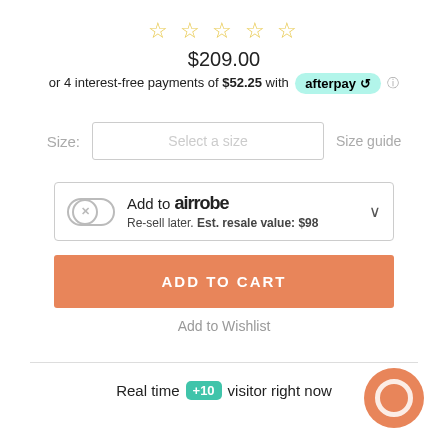[Figure (other): Five empty star rating icons in gold/yellow outline style]
$209.00
or 4 interest-free payments of $52.25 with afterpay
Size: Select a size   Size guide
Add to airrobe Re-sell later. Est. resale value: $98
ADD TO CART
Add to Wishlist
Real time +10 visitor right now
[Figure (other): Orange circular chat bubble icon in bottom right corner]